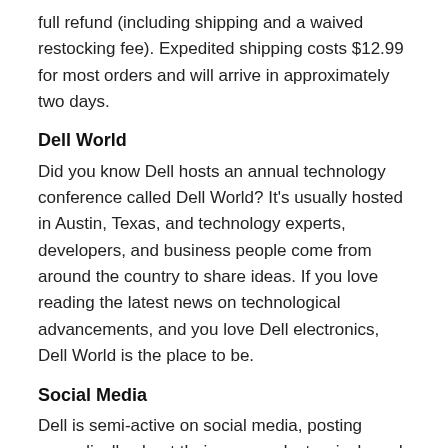full refund (including shipping and a waived restocking fee). Expedited shipping costs $12.99 for most orders and will arrive in approximately two days.
Dell World
Did you know Dell hosts an annual technology conference called Dell World? It's usually hosted in Austin, Texas, and technology experts, developers, and business people come from around the country to share ideas. If you love reading the latest news on technological advancements, and you love Dell electronics, Dell World is the place to be.
Social Media
Dell is semi-active on social media, posting sporadically about their new product arrivals and promotions on electronics. You can find Dell on Facebook, Twitter, and Pinterest. Sometimes Dell will answer customer questions over Twitter in addition to event announcements (like Dell World), and the Dell Pinterest page has incredible infographics on technology-related topics for computer geeks